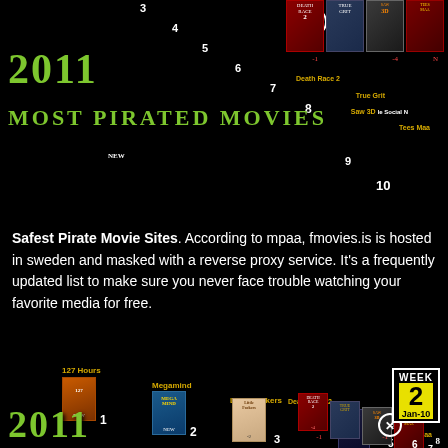[Figure (infographic): 2011 Most Pirated Movies infographic top section showing numbered list 1-10 with movie posters for 127 Hours, Megamind, Little Fockers, Inception, Tron, Winter's Bone, Death Race 2, True Grit, Saw 3D, The Social Network, Tees Maa and the green styled title '2011 Most Pirated Movies']
Safest Pirate Movie Sites. According to mpaa, fmovies.is is hosted in sweden and masked with a reverse proxy service. It's a frequently updated list to make sure you never face trouble watching your favorite media for free.
[Figure (infographic): Bottom repeated portion of 2011 Most Pirated Movies infographic showing movie labels (127 Hours, Megamind, Little Fockers, Inception, Death Race 2, True Grit, Saw 3D, The Social N, Tees Maa), rank numbers 1-8 visible, WEEK 2 Jan-10 badge, and the green styled title '2011 Most Pirated Movies' partially visible]